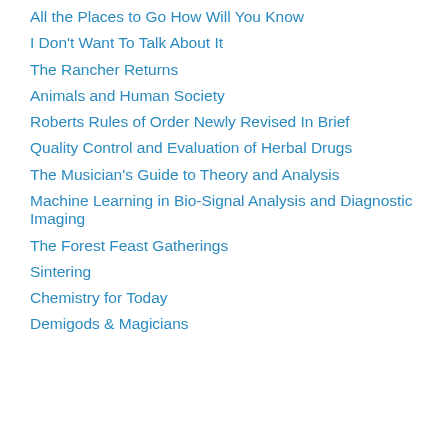All the Places to Go How Will You Know
I Don't Want To Talk About It
The Rancher Returns
Animals and Human Society
Roberts Rules of Order Newly Revised In Brief
Quality Control and Evaluation of Herbal Drugs
The Musician's Guide to Theory and Analysis
Machine Learning in Bio-Signal Analysis and Diagnostic Imaging
The Forest Feast Gatherings
Sintering
Chemistry for Today
Demigods & Magicians